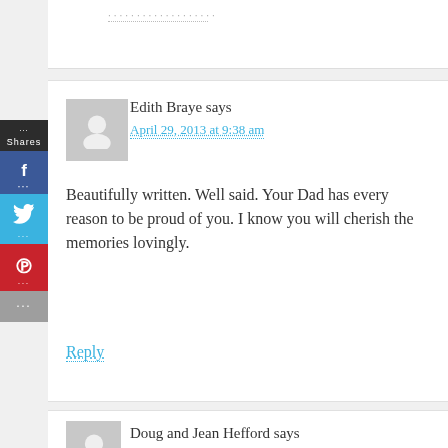Edith Braye says
April 29, 2013 at 9:38 am
Beautifully written. Well said. Your Dad has every reason to be proud of you. I know you will cherish the memories lovingly.
Reply
Doug and Jean Hefford says
April 29, 2013 at 10:37 am